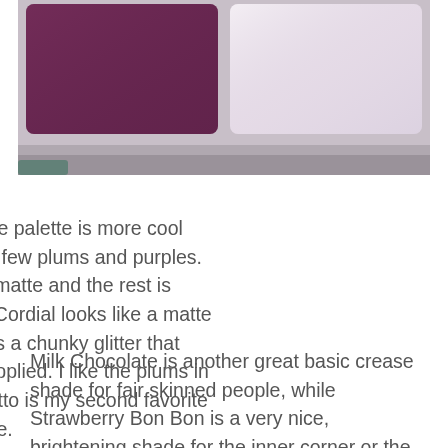[Figure (photo): Close-up photograph of a makeup eyeshadow palette showing plum/purple shades on the left and a light shimmery shade on the right, set in a taupe/grey palette casing.]
The right side of the palette is more cool toned. There are a few plums and purples. Three shades are matte and the rest is shimmery. Cherry Cordial looks like a matte at first, but contains a chunky glitter that disappears once applied. I like the plums in this palette: Amaretto is my second favorite shade of the palette.
Milk Chocolate is another great basic crease shade for fair skinned people, while Strawberry Bon Bon is a very nice, brightening shade for the inner corner or the brow bone. Candied Violet was surprisingly nice in its